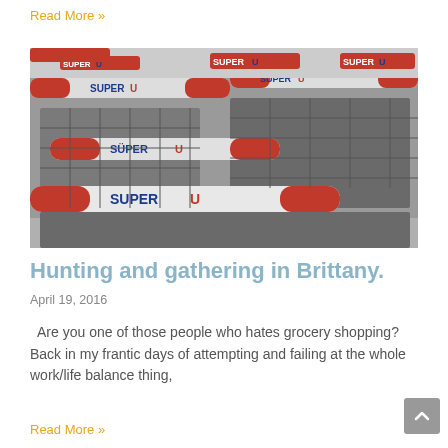Read More »
[Figure (photo): Rows of Super U branded shopping carts with red and white handles, stacked together in a parking area.]
Hunting and gathering in Brittany.
April 19, 2016
Are you one of those people who hates grocery shopping? Back in my frantic days of attempting and failing at the whole work/life balance thing,
Read More »